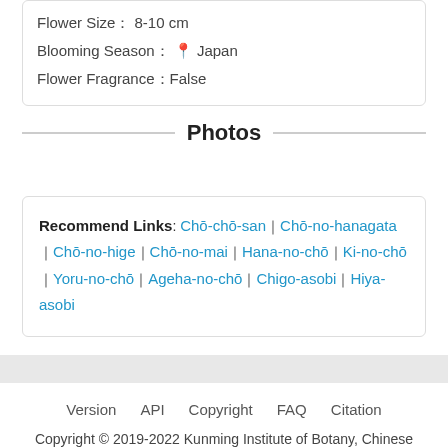Flower Size： 8-10 cm
Blooming Season： 📍 Japan
Flower Fragrance：False
Photos
Recommend Links: Chō-chō-san｜Chō-no-hanagata｜Chō-no-hige｜Chō-no-mai｜Hana-no-chō｜Ki-no-chō｜Yoru-no-chō｜Ageha-no-chō｜Chigo-asobi｜Hiya-asobi
Version   API   Copyright   FAQ   Citation
Copyright © 2019-2022 Kunming Institute of Botany, Chinese Academy of Sciences. All rights reserved. 滇ICP备05000394号